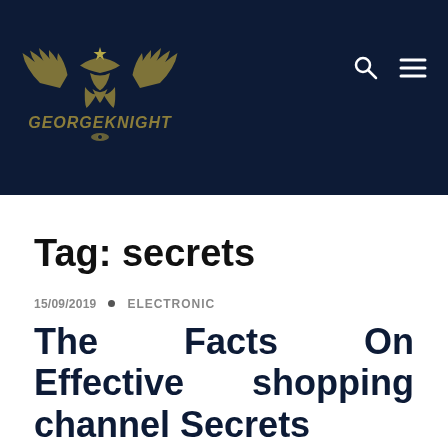[Figure (logo): GeorgeKnight logo with eagle/wing emblem and stylized text on dark navy background]
Tag: secrets
15/09/2019 • ELECTRONIC
The Facts On Effective shopping channel Secrets
Shop By Brand